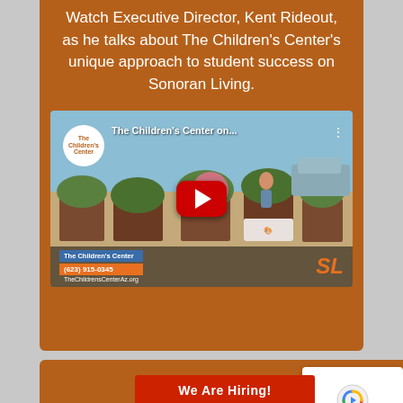Watch Executive Director, Kent Rideout, as he talks about The Children's Center's unique approach to student success on Sonoran Living.
[Figure (screenshot): YouTube video thumbnail showing The Children's Center on Sonoran Living. Garden beds visible in outdoor setting with YouTube play button overlay. Lower-third shows The Children's Center name, phone (623) 915-0345, website TheChildrensCenterAz.org, and SL logo.]
The st... iren's Center... hental
[Figure (other): We Are Hiring! red banner button overlay]